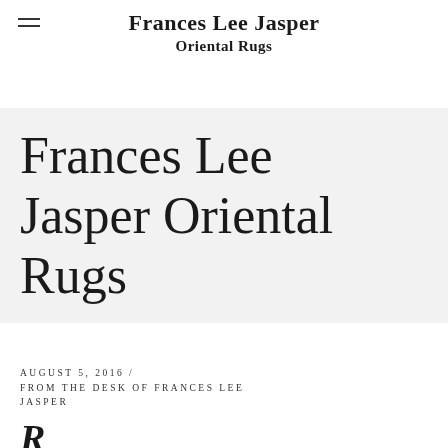Frances Lee Jasper Oriental Rugs
Frances Lee Jasper Oriental Rugs
AUGUST 5, 2016 / FROM THE DESK OF FRANCES LEE JASPER